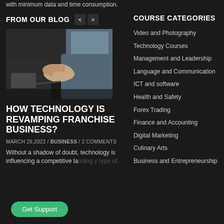with minimum data and time consumption.
FROM OUR BLOG
[Figure (photo): Two people shaking hands at a desk with a laptop, business meeting setting, dark background]
HOW TECHNOLOGY IS REVAMPING FRANCHISE BUSINESS?
MARCH 29,2022 / BUSINESS / 2 COMMENTS
Without a shadow of doubt, technology is influencing a competitive la... y type of...
COURSE CATEGORIES
Video and Photography
Technology Courses
Management and Leadership
Language and Communication
ICT and software
Health and Safety
Forex Trading
Finance and Accounting
Digital Marketing
Culinary Arts
Business and Entrepreneurship